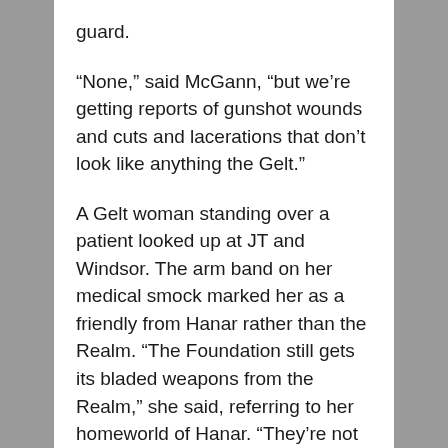guard.
“None,” said McGann, “but we’re getting reports of gunshot wounds and cuts and lacerations that don’t look like anything the Gelt.”
A Gelt woman standing over a patient looked up at JT and Windsor. The arm band on her medical smock marked her as a friendly from Hanar rather than the Realm. “The Foundation still gets its bladed weapons from the Realm,” she said, referring to her homeworld of Hanar. “They’re not capable of these types of cuts. It’s almost as if someone used non-